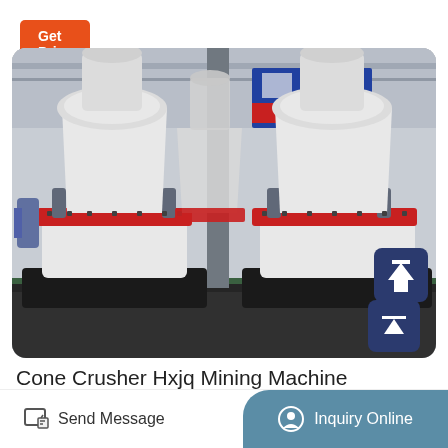Get Price
[Figure (photo): Industrial cone crusher machines in a factory/warehouse setting. Large white cone-shaped crushing machines with red accent rings and hydraulic cylinders, mounted on black bases. Multiple units visible in a well-lit industrial facility.]
Cone Crusher Hxjq Mining Machine
Send Message
Inquiry Online